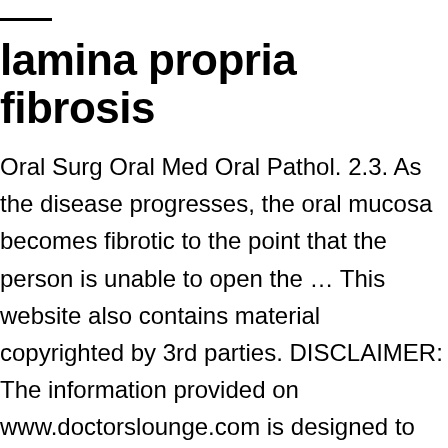lamina propria fibrosis
Oral Surg Oral Med Oral Pathol. 2.3. As the disease progresses, the oral mucosa becomes fibrotic to the point that the person is unable to open the … This website also contains material copyrighted by 3rd parties. DISCLAIMER: The information provided on www.doctorslounge.com is designed to support, not replace, the relationship that exists between a patient/site visitor and his/her physician. 1997 Spring. [Medline]. 2006 Oct 16.